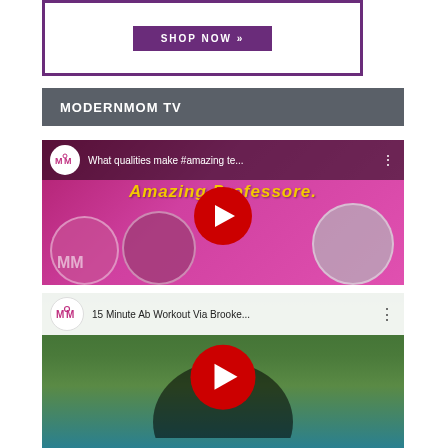[Figure (screenshot): Shop Now banner with purple border and purple button]
MODERNMOM TV
[Figure (screenshot): YouTube video thumbnail: What qualities make #amazing te... with play button overlay]
[Figure (screenshot): YouTube video thumbnail: 15 Minute Ab Workout Via Brooke... with play button overlay]